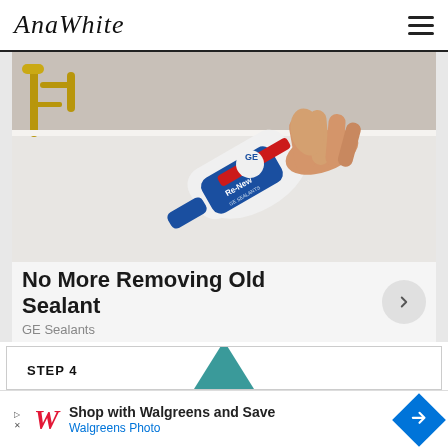Ana White
[Figure (photo): Hand holding a GE Sealants 'Re-New' caulk product tube, applying it to a white bathtub edge with gold faucet fixtures in background. White product with blue and red label.]
No More Removing Old Sealant
GE Sealants
STEP 4
[Figure (photo): Partial view of a teal/green triangular shape at the bottom of the step 4 section.]
Shop with Walgreens and Save Walgreens Photo